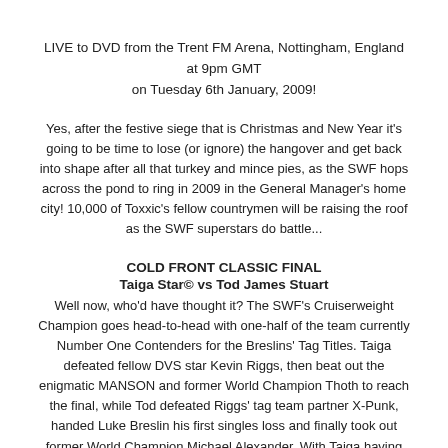LIVE to DVD from the Trent FM Arena, Nottingham, England at 9pm GMT on Tuesday 6th January, 2009!
Yes, after the festive siege that is Christmas and New Year it's going to be time to lose (or ignore) the hangover and get back into shape after all that turkey and mince pies, as the SWF hops across the pond to ring in 2009 in the General Manager's home city! 10,000 of Toxxic's fellow countrymen will be raising the roof as the SWF superstars do battle...
COLD FRONT CLASSIC FINAL
Taiga Star© vs Tod James Stuart
Well now, who'd have thought it? The SWF's Cruiserweight Champion goes head-to-head with one-half of the team currently Number One Contenders for the Breslins' Tag Titles. Taiga defeated fellow DVS star Kevin Riggs, then beat out the enigmatic MANSON and former World Champion Thoth to reach the final, while Tod defeated Riggs' tag team partner X-Punk, handed Luke Breslin his first singles loss and finally took out former World Champion Michael Alexander. With Taiga having failed to capture the DVS European Title from Va'aiga, will she have more luck in her attempt to get a chance to take his SWF World Title?